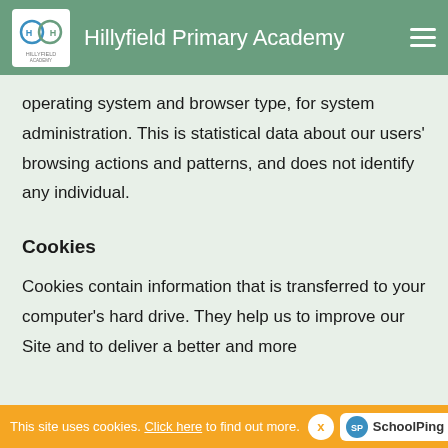Hillyfield Primary Academy
operating system and browser type, for system administration. This is statistical data about our users' browsing actions and patterns, and does not identify any individual.
Cookies
Cookies contain information that is transferred to your computer's hard drive. They help us to improve our Site and to deliver a better and more
This site uses cookies. Click here to find out more. x SchoolPing